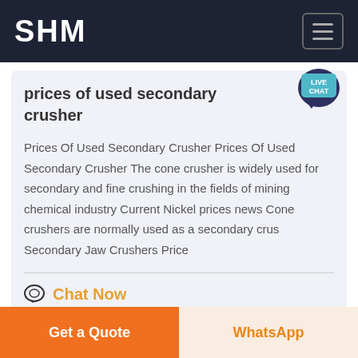SHM
prices of used secondary crusher
Prices Of Used Secondary Crusher Prices Of Used Secondary Crusher The cone crusher is widely used for secondary and fine crushing in the fields of mining chemical industry Current Nickel prices news Cone crushers are normally used as a secondary crus Secondary Jaw Crushers Price
Chat Now